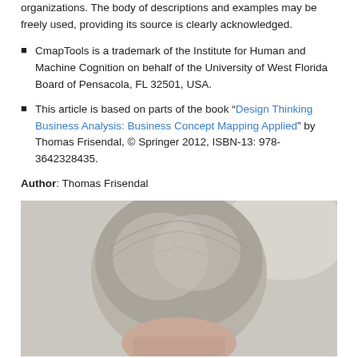organizations. The body of descriptions and examples may be freely used, providing its source is clearly acknowledged.
CmapTools is a trademark of the Institute for Human and Machine Cognition on behalf of the University of West Florida Board of Pensacola, FL 32501, USA.
This article is based on parts of the book “Design Thinking Business Analysis: Business Concept Mapping Applied” by Thomas Frisendal, © Springer 2012, ISBN-13: 978-3642328435.
Author: Thomas Frisendal
[Figure (photo): Portrait photo of Thomas Frisendal, showing top of head with grey/white hair, face partially visible at bottom, against a light grey background.]